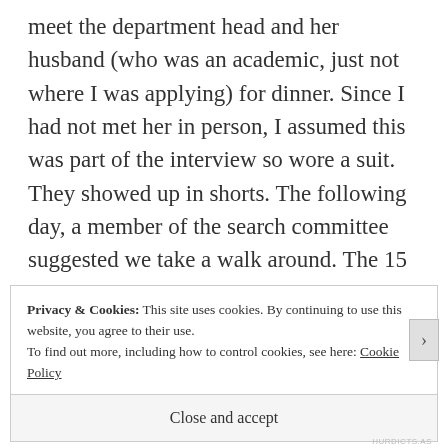meet the department head and her husband (who was an academic, just not where I was applying) for dinner. Since I had not met her in person, I assumed this was part of the interview so wore a suit. They showed up in shorts. The following day, a member of the search committee suggested we take a walk around. The 15 minute walk occurred in June, during a heat wave, and again I was in a suit. During the walk my watch band broke to which I responded
Privacy & Cookies: This site uses cookies. By continuing to use this website, you agree to their use.
To find out more, including how to control cookies, see here: Cookie Policy
Close and accept